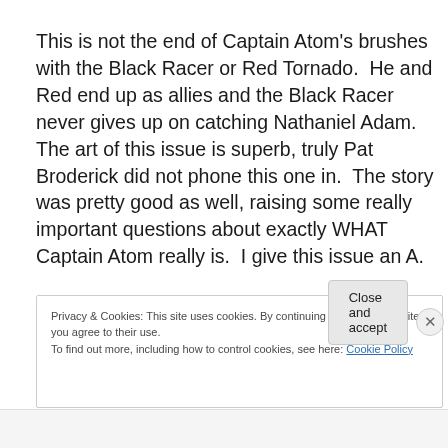This is not the end of Captain Atom's brushes with the Black Racer or Red Tornado.  He and Red end up as allies and the Black Racer never gives up on catching Nathaniel Adam.  The art of this issue is superb, truly Pat Broderick did not phone this one in.  The story was pretty good as well, raising some really important questions about exactly WHAT Captain Atom really is.  I give this issue an A.
Privacy & Cookies: This site uses cookies. By continuing to use this website, you agree to their use.
To find out more, including how to control cookies, see here: Cookie Policy
Close and accept